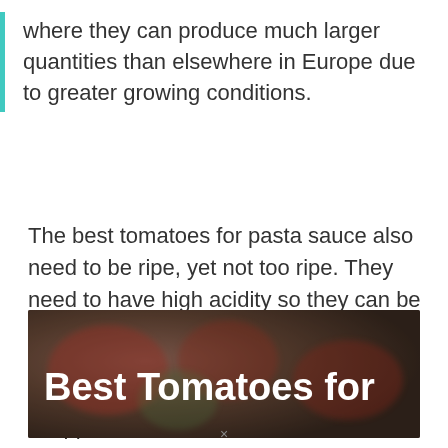where they can produce much larger quantities than elsewhere in Europe due to greater growing conditions.
The best tomatoes for pasta sauce also need to be ripe, yet not too ripe. They need to have high acidity so they can be fully incorporated into the sauce. The tomatoes should have an even texture so they don't break easily when chopped.
[Figure (photo): Blurred photo of tomatoes with white bold text overlay reading 'Best Tomatoes for']